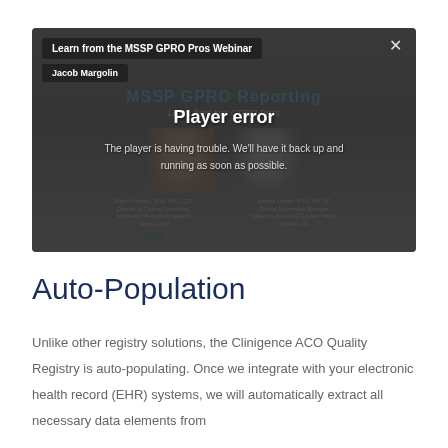[Figure (screenshot): A video player showing a webinar titled 'Learn from the MSSP GPRO Pros Webinar' by Jacob Margolin. The player displays a 'Player error' message: 'The player is having trouble. We'll have it back up and running as soon as possible.' Behind the error overlay is a partially visible slide about 'MSSP GPRO Reporting' featuring two speakers.]
Auto-Population
Unlike other registry solutions, the Clinigence ACO Quality Registry is auto-populating. Once we integrate with your electronic health record (EHR) systems, we will automatically extract all necessary data elements from